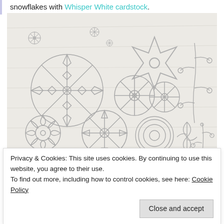snowflakes with Whisper White cardstock.
[Figure (photo): Photo of metal die-cut shapes arranged on a light wood-grain background. The shapes include various snowflakes of different sizes and designs, a six-pointed star outline, a floral/daisy shape, and decorative branch/sprig shapes. All are silver-grey metal dies.]
Privacy & Cookies: This site uses cookies. By continuing to use this website, you agree to their use.
To find out more, including how to control cookies, see here: Cookie Policy
Close and accept